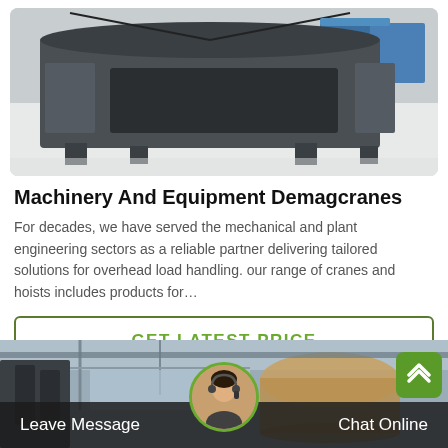[Figure (photo): Industrial heavy machinery / vibrating screen equipment on a factory floor, grey metal structure with blue equipment in background]
Machinery And Equipment Demagcranes
For decades, we have served the mechanical and plant engineering sectors as a reliable partner delivering tailored solutions for overhead load handling. our range of cranes and hoists includes products for…
GET LATEST PRICE
[Figure (photo): Industrial warehouse interior with cranes and large cylindrical tank, bottom bar shows Leave Message and Chat Online with customer service avatar and green scroll-up button]